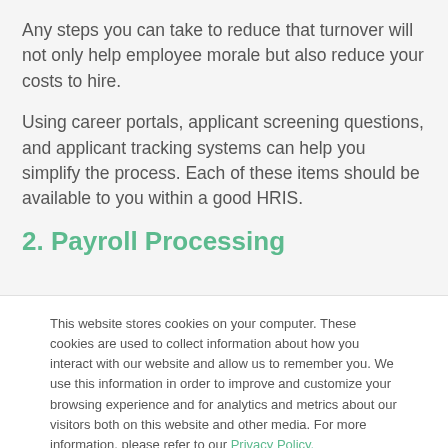Any steps you can take to reduce that turnover will not only help employee morale but also reduce your costs to hire.
Using career portals, applicant screening questions, and applicant tracking systems can help you simplify the process. Each of these items should be available to you within a good HRIS.
2. Payroll Processing
This website stores cookies on your computer. These cookies are used to collect information about how you interact with our website and allow us to remember you. We use this information in order to improve and customize your browsing experience and for analytics and metrics about our visitors both on this website and other media. For more information, please refer to our Privacy Policy.